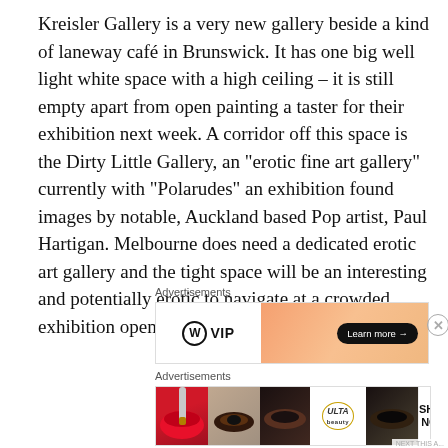Kreisler Gallery is a very new gallery beside a kind of laneway café in Brunswick. It has one big well light white space with a high ceiling – it is still empty apart from open painting a taster for their exhibition next week. A corridor off this space is the Dirty Little Gallery, an “erotic fine art gallery” currently with “Polarudes” an exhibition found images by notable, Auckland based Pop artist, Paul Hartigan. Melbourne does need a dedicated erotic art gallery and the tight space will be an interesting and potentially erotic to navigate at a crowded exhibition opening.
Advertisements
[Figure (other): WordPress VIP advertisement banner with orange gradient and Learn more button]
Advertisements
[Figure (other): ULTA Beauty advertisement banner with cosmetic product images and SHOP NOW call to action]